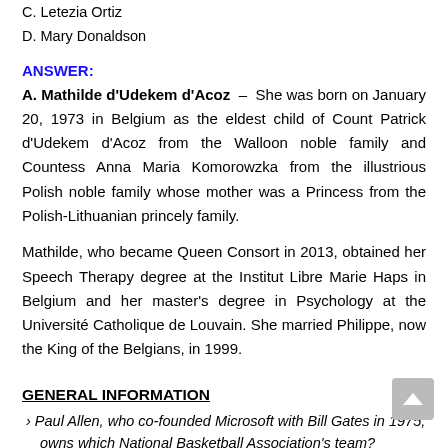C. Letezia Ortiz
D. Mary Donaldson
ANSWER:
A. Mathilde d'Udekem d'Acoz – She was born on January 20, 1973 in Belgium as the eldest child of Count Patrick d'Udekem d'Acoz from the Walloon noble family and Countess Anna Maria Komorowzka from the illustrious Polish noble family whose mother was a Princess from the Polish-Lithuanian princely family.
Mathilde, who became Queen Consort in 2013, obtained her Speech Therapy degree at the Institut Libre Marie Haps in Belgium and her master's degree in Psychology at the Université Catholique de Louvain. She married Philippe, now the King of the Belgians, in 1999.
GENERAL INFORMATION
Paul Allen, who co-founded Microsoft with Bill Gates in 1975, owns which National Basketball Association's team?